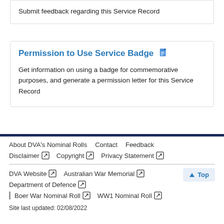Submit feedback regarding this Service Record
Permission to Use Service Badge
Get information on using a badge for commemorative purposes, and generate a permission letter for this Service Record
About DVA's Nominal Rolls | Contact | Feedback | Disclaimer | Copyright | Privacy Statement | DVA Website | Australian War Memorial | Department of Defence | Boer War Nominal Roll | WW1 Nominal Roll | Site last updated: 02/08/2022